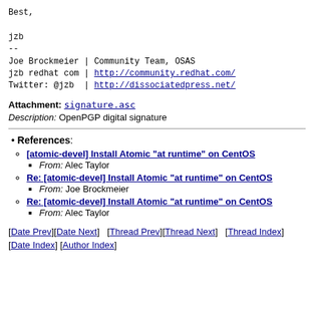Best,

jzb
--
Joe Brockmeier | Community Team, OSAS
jzb redhat com | http://community.redhat.com/
Twitter: @jzb  | http://dissociatedpress.net/
Attachment: signature.asc
Description: OpenPGP digital signature
References:
[atomic-devel] Install Atomic "at runtime" on CentOS
From: Alec Taylor
Re: [atomic-devel] Install Atomic "at runtime" on CentOS
From: Joe Brockmeier
Re: [atomic-devel] Install Atomic "at runtime" on CentOS
From: Alec Taylor
[Date Prev][Date Next]   [Thread Prev][Thread Next]   [Thread Index] [Date Index] [Author Index]